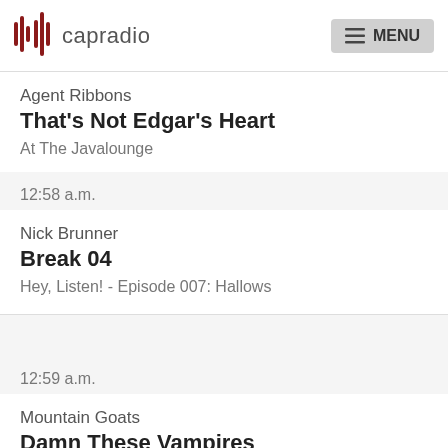capradio | MENU
Agent Ribbons
That's Not Edgar's Heart
At The Javalounge
12:58 a.m.
Nick Brunner
Break 04
Hey, Listen! - Episode 007: Hallows
12:59 a.m.
Mountain Goats
Damn These Vampires